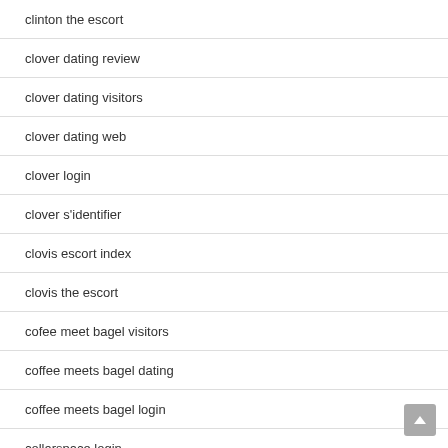clinton the escort
clover dating review
clover dating visitors
clover dating web
clover login
clover s'identifier
clovis escort index
clovis the escort
cofee meet bagel visitors
coffee meets bagel dating
coffee meets bagel login
collarspace login